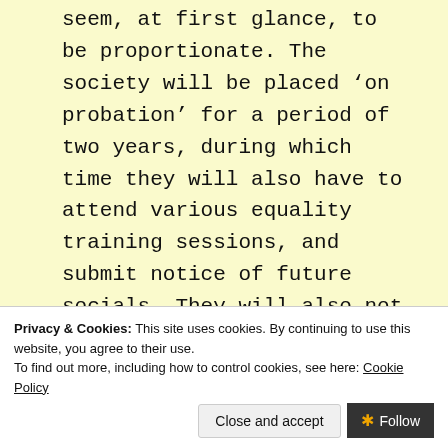seem, at first glance, to be proportionate. The society will be placed ‘on probation’ for a period of two years, during which time they will also have to attend various equality training sessions, and submit notice of future socials. They will also not be permitted to run events that aren’t training based…
Privacy & Cookies: This site uses cookies. By continuing to use this website, you agree to their use. To find out more, including how to control cookies, see here: Cookie Policy
as those proposed for t